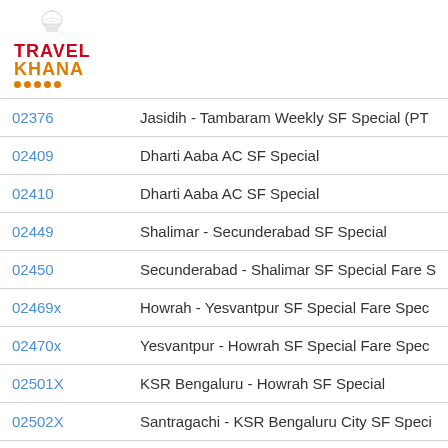[Figure (logo): Travel Khana logo with chef hat icon and orange dots]
| Train Number | Train Name |
| --- | --- |
| 02376 | Jasidih - Tambaram Weekly SF Special (PT |
| 02409 | Dharti Aaba AC SF Special |
| 02410 | Dharti Aaba AC SF Special |
| 02449 | Shalimar - Secunderabad SF Special |
| 02450 | Secunderabad - Shalimar SF Special Fare S |
| 02469x | Howrah - Yesvantpur SF Special Fare Spec |
| 02470x | Yesvantpur - Howrah SF Special Fare Spec |
| 02501X | KSR Bengaluru - Howrah SF Special |
| 02502X | Santragachi - KSR Bengaluru City SF Speci |
| 02504X | Agartala - Bengaluru Cantt. Humsafar Inau |